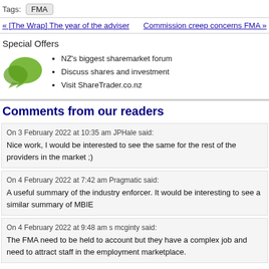Tags: FMA
« [The Wrap] The year of the adviser    Commission creep concerns FMA »
Special Offers
NZ's biggest sharemarket forum
Discuss shares and investment
Visit ShareTrader.co.nz
Comments from our readers
On 3 February 2022 at 10:35 am JPHale said:
Nice work, I would be interested to see the same for the rest of the providers in the market ;)
On 4 February 2022 at 7:42 am Pragmatic said:
A useful summary of the industry enforcer. It would be interesting to see a similar summary of MBIE
On 4 February 2022 at 9:48 am s mcginty said:
The FMA need to be held to account but they have a complex job and need to attract staff in the employment marketplace.